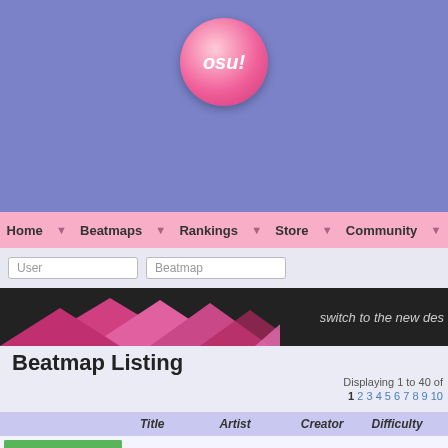[Figure (logo): osu! pink circle logo]
Home  Beatmaps  Rankings  Store  Community
[Figure (screenshot): Search bar with User and Beatmap input fields]
[Figure (infographic): Dark banner with pink triangles and text 'switch to the new des']
Beatmap Listing
Displaying 1 to 40 of
1 2 3 4 5 6 7 8 9 10
| Title | Artist | Creator | Difficulty |
| --- | --- | --- | --- |
| Kenji Ninuma - DISCO PRINCE |  | peppy | Video Game | Japanese | ♥ 1210 ▶ 608,009 |
| Brandy - Love Fighter |  | FFFanatic | Video Game | Korean | ♥ 128 ▶ 127,440 |
| Ken Hirai - Pop Star |  | Chan | Pop | Japanese |